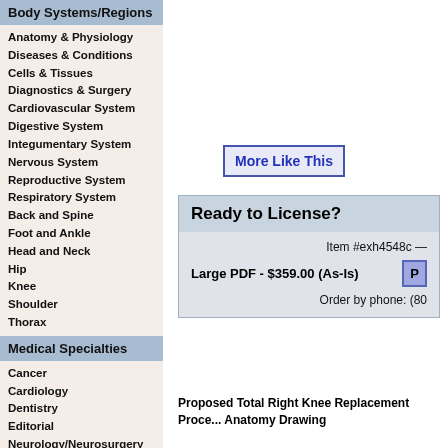Body Systems/Regions
Anatomy & Physiology
Diseases & Conditions
Cells & Tissues
Diagnostics & Surgery
Cardiovascular System
Digestive System
Integumentary System
Nervous System
Reproductive System
Respiratory System
Back and Spine
Foot and Ankle
Head and Neck
Hip
Knee
Shoulder
Thorax
Medical Specialties
Cancer
Cardiology
Dentistry
Editorial
Neurology/Neurosurgery
Ob/Gyn
More Like This
Ready to License?
Item #exh4548c —
Large PDF - $359.00 (As-Is)
Order by phone: (80
Proposed Total Right Knee Replacement Procedure Anatomy Drawing